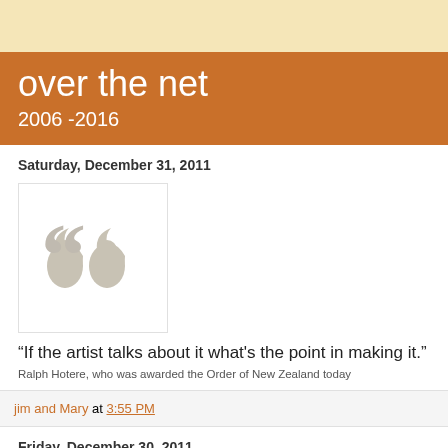over the net
2006 -2016
Saturday, December 31, 2011
[Figure (illustration): Large decorative open quotation marks in grey on white background]
“If the artist talks about it what's the point in making it.”
Ralph Hotere, who was awarded the Order of New Zealand today
jim and Mary at 3:55 PM
Friday, December 30, 2011
Just saying